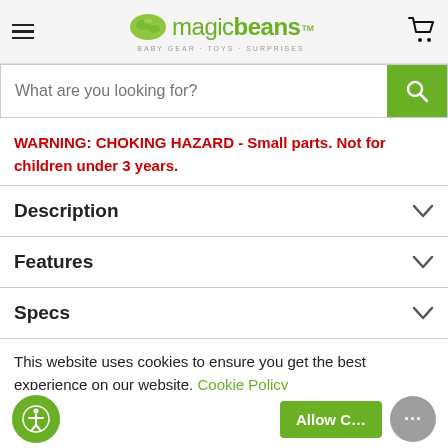magic beans - BABY GEAR · TOYS · SURPRISES
What are you looking for?
WARNING: CHOKING HAZARD - Small parts. Not for children under 3 years.
Description
Features
Specs
This website uses cookies to ensure you get the best experience on our website. Cookie Policy
Allow C...